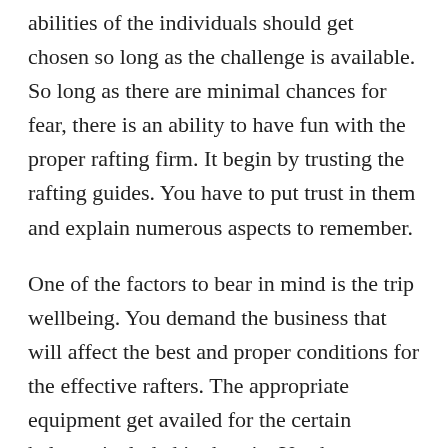abilities of the individuals should get chosen so long as the challenge is available. So long as there are minimal chances for fear, there is an ability to have fun with the proper rafting firm. It begin by trusting the rafting guides. You have to put trust in them and explain numerous aspects to remember.
One of the factors to bear in mind is the trip wellbeing. You demand the business that will affect the best and proper conditions for the effective rafters. The appropriate equipment get availed for the certain helmets included in the trip. You have to make sure that you put on the proper equipment for the journey. The newcomers and beginners for the rafting etiquette have to get remembered when